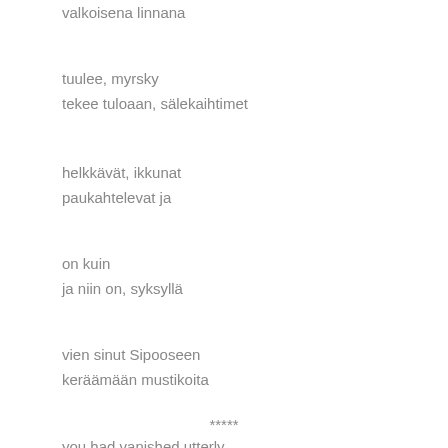valkoisena linnana
tuulee, myrsky
tekee tuloaan, sälekaihtimet
helkkävät, ikkunat
paukahtelevat ja
on kuin
ja niin on, syksyllä
vien sinut Sipooseen
keräämään mustikoita
*****
you had vanished utterly